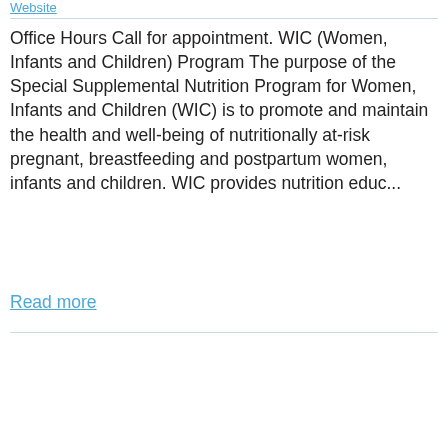Website
Office Hours Call for appointment. WIC (Women, Infants and Children) Program The purpose of the Special Supplemental Nutrition Program for Women, Infants and Children (WIC) is to promote and maintain the health and well-being of nutritionally at-risk pregnant, breastfeeding and postpartum women, infants and children. WIC provides nutrition educ...
Read more